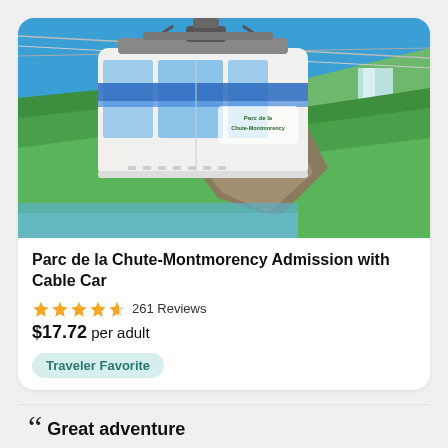[Figure (photo): A cable car gondola from Parc de la Chute-Montmorency suspended on cables above a lush green hillside with a large waterfall and blue sky in the background.]
Parc de la Chute-Montmorency Admission with Cable Car
★★★★½ 261 Reviews
$17.72 per adult
Traveler Favorite
Great adventure